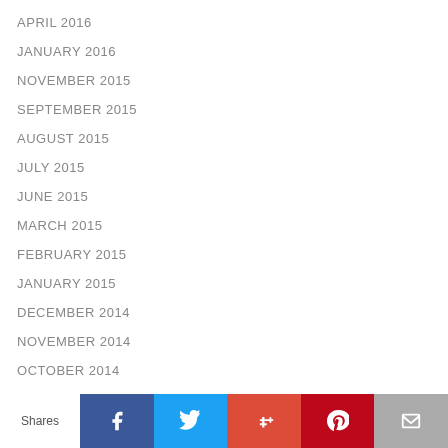APRIL 2016
JANUARY 2016
NOVEMBER 2015
SEPTEMBER 2015
AUGUST 2015
JULY 2015
JUNE 2015
MARCH 2015
FEBRUARY 2015
JANUARY 2015
DECEMBER 2014
NOVEMBER 2014
OCTOBER 2014
AUGUST 2014
JULY 2014